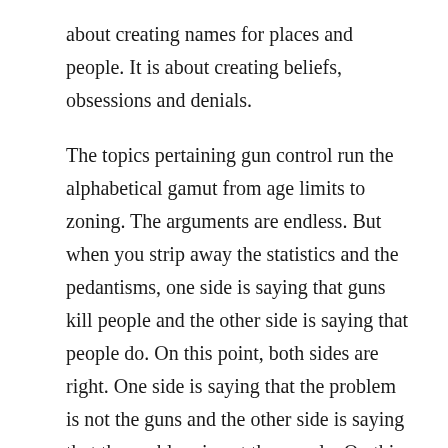about creating names for places and people. It is about creating beliefs, obsessions and denials.
The topics pertaining gun control run the alphabetical gamut from age limits to zoning. The arguments are endless. But when you strip away the statistics and the pedantisms, one side is saying that guns kill people and the other side is saying that people do. On this point, both sides are right. One side is saying that the problem is not the guns and the other side is saying that the problem is not the people. On this point, both are wrong. Guns kill people AND people kill people. The same applies to all other major arguments. Both sides are both right and wrong.
I have no desire to change American gun laws. I am not